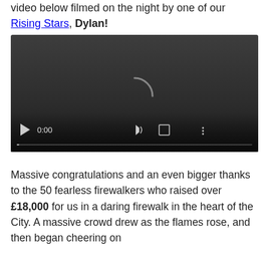Video below filmed on the night by one of our Rising Stars, Dylan!
[Figure (screenshot): Embedded video player with dark background showing a loading spinner arc, playback controls (play button, 0:00 timestamp, volume icon, fullscreen icon, more options icon), and a progress bar at the bottom.]
Massive congratulations and an even bigger thanks to the 50 fearless firewalkers who raised over £18,000 for us in a daring firewalk in the heart of the City. A massive crowd drew as the flames rose, and then began cheering on the...